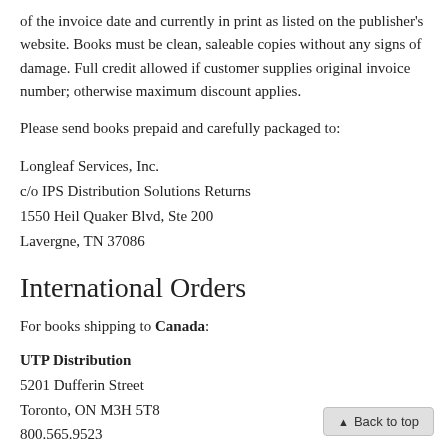of the invoice date and currently in print as listed on the publisher's website. Books must be clean, saleable copies without any signs of damage. Full credit allowed if customer supplies original invoice number; otherwise maximum discount applies.
Please send books prepaid and carefully packaged to:
Longleaf Services, Inc.
c/o IPS Distribution Solutions Returns
1550 Heil Quaker Blvd, Ste 200
Lavergne, TN 37086
International Orders
For books shipping to Canada:
UTP Distribution
5201 Dufferin Street
Toronto, ON M3H 5T8
800.565.9523